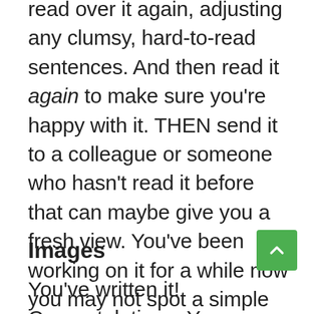read over it again, adjusting any clumsy, hard-to-read sentences. And then read it again to make sure you're happy with it. THEN send it to a colleague or someone who hasn't read it before that can maybe give you a fresh view. You've been working on it for a while now you may not spot a simple mistake or maybe someone else simply has a better way to write something.
Images
You've written it! Congratulations. Your